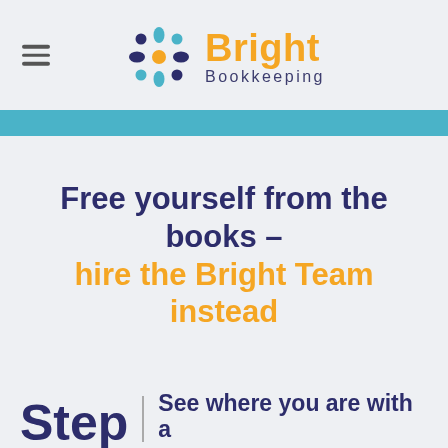[Figure (logo): Bright Bookkeeping logo with colorful snowflake/flower icon in dark blue, teal, and orange dots, alongside orange 'Bright' text and dark blue 'Bookkeeping' subtitle]
Free yourself from the books – hire the Bright Team instead
Step | See where you are with a